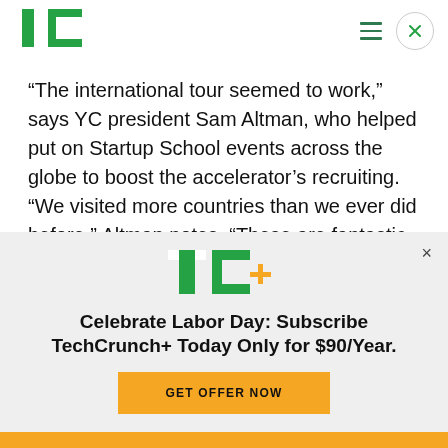TechCrunch logo, navigation hamburger, close button
“The international tour seemed to work,” says YC president Sam Altman, who helped put on Startup School events across the globe to boost the accelerator’s recruiting. “We visited more countries than we ever did before,” Altman notes. “These are fantastic companies from around the world. If we make it so these companies don’t want to come to
[Figure (logo): TechCrunch+ logo (TC+ in green and yellow)]
Celebrate Labor Day: Subscribe TechCrunch+ Today Only for $90/Year.
GET OFFER NOW